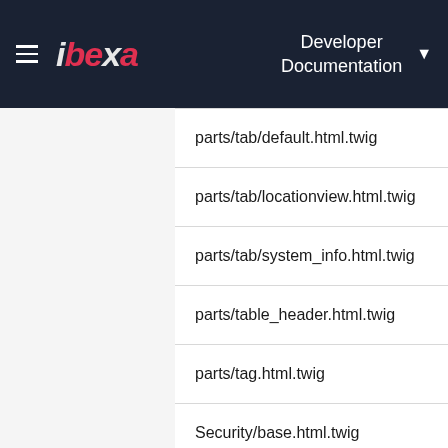ibeka Developer Documentation
parts/tab/default.html.twig
parts/tab/locationview.html.twig
parts/tab/system_info.html.twig
parts/table_header.html.twig
parts/tag.html.twig
Security/base.html.twig
Security/forgot_user_password/index.html.twig
Security/forgot_user_password/success.html.twig
Security/forgot_user_password/with_login.html.t